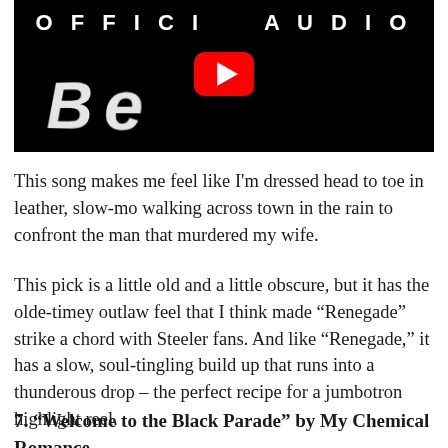[Figure (screenshot): YouTube video thumbnail showing 'OFFICIAL AUDIO' text at top on black background with a large stylized 'B' or 'Be' letters in white, and a red YouTube play button in the center.]
This song makes me feel like I'm dressed head to toe in leather, slow-mo walking across town in the rain to confront the man that murdered my wife.
This pick is a little old and a little obscure, but it has the olde-timey outlaw feel that I think made “Renegade” strike a chord with Steeler fans. And like “Renegade,” it has a slow, soul-tingling build up that runs into a thunderous drop – the perfect recipe for a jumbotron highlight reel.
7. “Welcome to the Black Parade” by My Chemical Romance